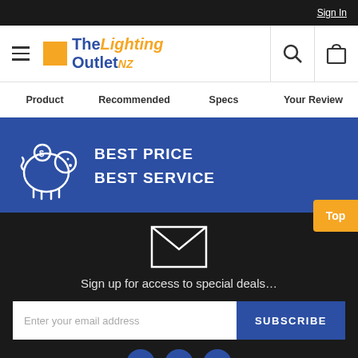Sign In
[Figure (logo): The Lighting Outlet NZ logo with orange square icon, blue and orange text]
Product  Recommended  Specs  Your Review
BEST PRICE
BEST SERVICE
[Figure (illustration): Piggy bank with dollar sign icon in white outline on blue background]
[Figure (illustration): Envelope/email icon in white outline on dark background]
Sign up for access to special deals…
Enter your email address
SUBSCRIBE
Top